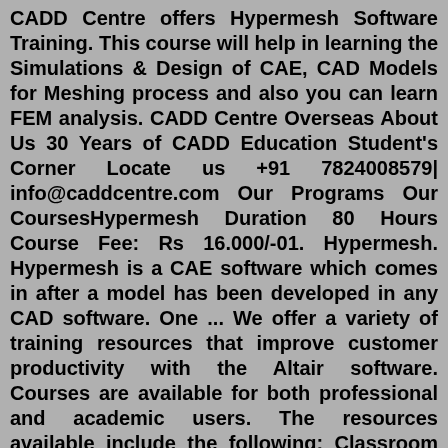CADD Centre offers Hypermesh Software Training. This course will help in learning the Simulations & Design of CAE, CAD Models for Meshing process and also you can learn FEM analysis. CADD Centre Overseas About Us 30 Years of CADD Education Student's Corner Locate us +91 7824008579| info@caddcentre.com Our Programs Our CoursesHypermesh Duration 80 Hours Course Fee: Rs 16.000/-01. Hypermesh. Hypermesh is a CAE software which comes in after a model has been developed in any CAD software. One ... We offer a variety of training resources that improve customer productivity with the Altair software. Courses are available for both professional and academic users. The resources available include the following: Classroom courses scheduled globally. Virtual courses in all time zones. Access to eLearning for learning at any time.Here are the details of Altair HyperMesh Course including duration, Eligibility, Admission Criteria, Fees and Syllabus. Altair HyperMesh is a high-performance finite-element pre-processor that